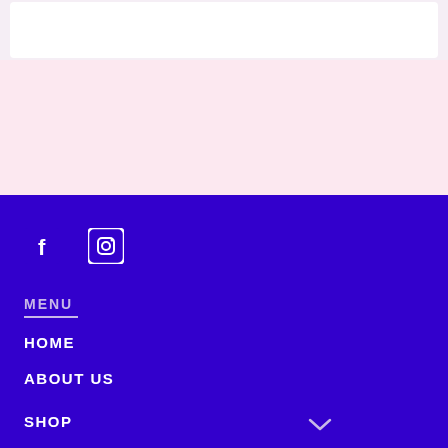[Figure (screenshot): White card area at top over light pink/purple background]
[Figure (illustration): Light pink section background]
[Figure (logo): Facebook icon (f) in white on purple background]
[Figure (logo): Instagram icon in white on purple background]
MENU
HOME
ABOUT US
SHOP